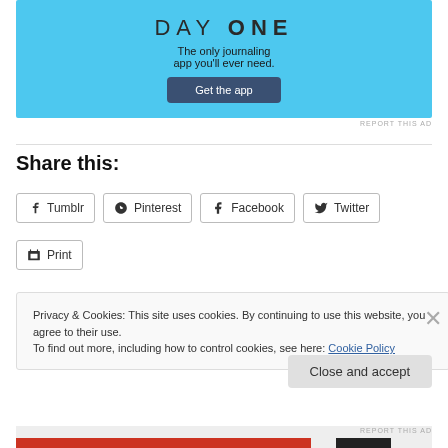[Figure (screenshot): Day One journaling app advertisement banner with sky-blue background, 'DAY ONE' title, subtitle 'The only journaling app you'll ever need.', and a 'Get the app' button]
REPORT THIS AD
Share this:
Tumblr
Pinterest
Facebook
Twitter
Print
Privacy & Cookies: This site uses cookies. By continuing to use this website, you agree to their use.
To find out more, including how to control cookies, see here: Cookie Policy
Close and accept
REPORT THIS AD